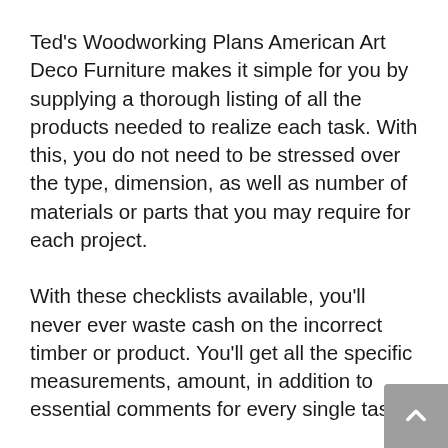Ted's Woodworking Plans American Art Deco Furniture makes it simple for you by supplying a thorough listing of all the products needed to realize each task. With this, you do not need to be stressed over the type, dimension, as well as number of materials or parts that you may require for each project.
With these checklists available, you'll never ever waste cash on the incorrect timber or product. You'll get all the specific measurements, amount, in addition to essential comments for every single task.
Following all the details in the lists will